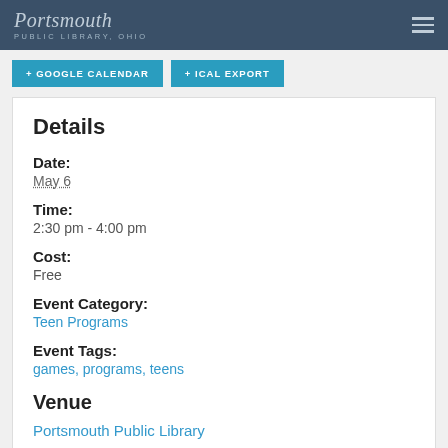Portsmouth Public Library, Ohio
+ GOOGLE CALENDAR   + ICAL EXPORT
Details
Date:
May 6
Time:
2:30 pm - 4:00 pm
Cost:
Free
Event Category:
Teen Programs
Event Tags:
games, programs, teens
Venue
Portsmouth Public Library
1220 Gallia Street
Portsmouth, OH 45663 United States